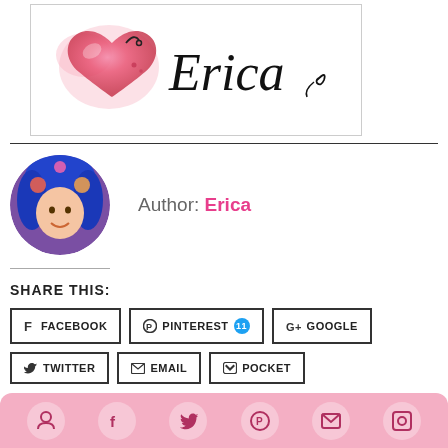[Figure (logo): Watercolor pink/red heart with decorative script text 'Erica' and swirl flourish]
Author: Erica
[Figure (photo): Circular avatar photo of a woman with blue hair, smiling]
SHARE THIS:
FACEBOOK
PINTEREST 11
GOOGLE
TWITTER
EMAIL
POCKET
[Figure (infographic): Pink social media icon bar at bottom with circular icons]